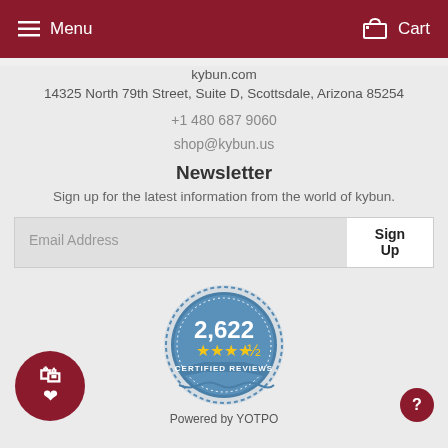Menu  Cart
kybun.com
14325 North 79th Street, Suite D, Scottsdale, Arizona 85254
+1 480 687 9060
shop@kybun.us
Newsletter
Sign up for the latest information from the world of kybun.
Email Address  Sign Up
[Figure (logo): Yotpo badge showing 2,622 certified reviews with 4.5 star rating]
Powered by YOTPO